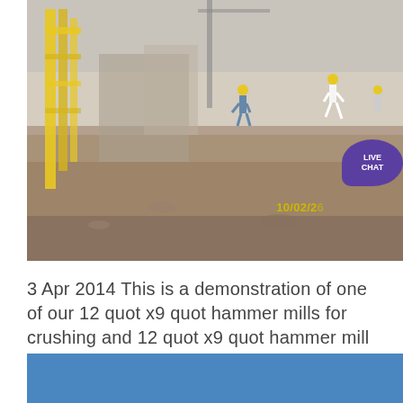[Figure (photo): Construction site photo showing workers, machinery, and equipment on a dirt ground. Yellow scaffolding or framework visible on the left, a crane in the background, and workers walking across the site. Timestamp '10/02/2...' visible in yellow at bottom right. A purple 'LIVE CHAT' bubble overlays the top right corner.]
3 Apr 2014 This is a demonstration of one of our 12 quot x9 quot hammer mills for crushing and 12 quot x9 quot hammer mill with a diesel motor for gold quartz ore